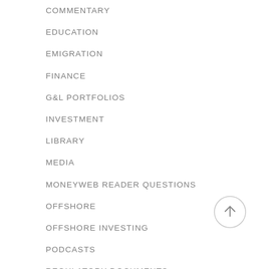COMMENTARY
EDUCATION
EMIGRATION
FINANCE
G&L PORTFOLIOS
INVESTMENT
LIBRARY
MEDIA
MONEYWEB READER QUESTIONS
OFFSHORE
OFFSHORE INVESTING
PODCASTS
REGULATORY DOCUMENTS
RETIREMENT
[Figure (illustration): Scroll-to-top button: circle with upward arrow]